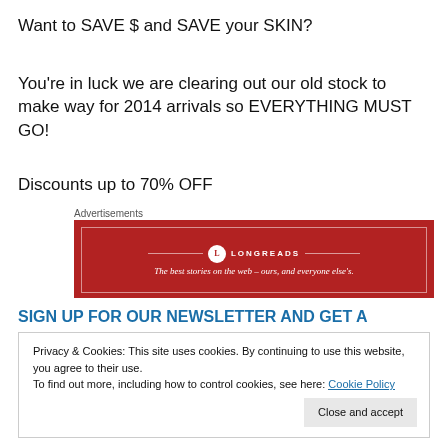Want to SAVE $ and SAVE your SKIN?
You're in luck we are clearing out our old stock to make way for 2014 arrivals so EVERYTHING MUST GO!
Discounts up to 70% OFF
Advertisements
[Figure (other): Longreads advertisement banner — red background with white border, logo and tagline: 'The best stories on the web – ours, and everyone else's.']
SIGN UP FOR OUR NEWSLETTER AND GET A
Privacy & Cookies: This site uses cookies. By continuing to use this website, you agree to their use. To find out more, including how to control cookies, see here: Cookie Policy